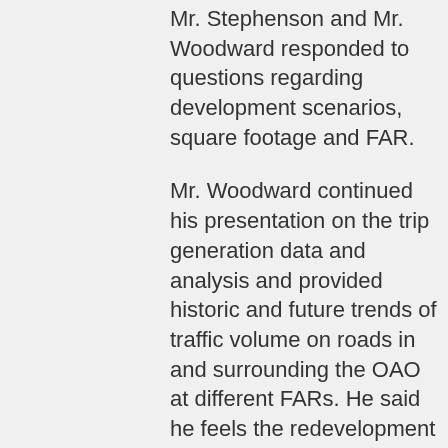Mr. Stephenson and Mr. Woodward responded to questions regarding development scenarios, square footage and FAR.
Mr. Woodward continued his presentation on the trip generation data and analysis and provided historic and future trends of traffic volume on roads in and surrounding the OAO at different FARs. He said he feels the redevelopment on Orange Avenue will force traffic originating in other cities to find an alternate route. He reviewed potential neighborhood impacts and recommendations to monitor traffic volumes and implement traffic calming measures such as narrowing roads, adding